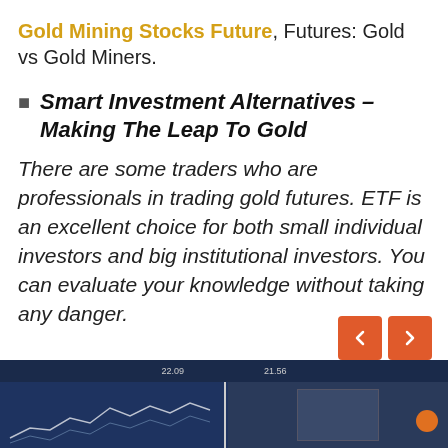Gold Mining Stocks Future, Futures: Gold vs Gold Miners.
Smart Investment Alternatives – Making The Leap To Gold
There are some traders who are professionals in trading gold futures. ETF is an excellent choice for both small individual investors and big institutional investors. You can evaluate your knowledge without taking any danger.
[Figure (screenshot): Bottom banner showing a dark blue financial website interface with ticker bar and chart/image content below]